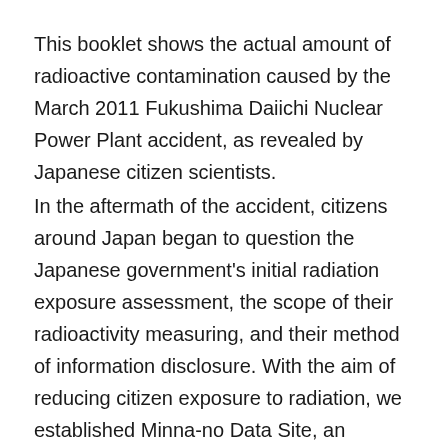This booklet shows the actual amount of radioactive contamination caused by the March 2011 Fukushima Daiichi Nuclear Power Plant accident, as revealed by Japanese citizen scientists.
In the aftermath of the accident, citizens around Japan began to question the Japanese government's initial radiation exposure assessment, the scope of their radioactivity measuring, and their method of information disclosure. With the aim of reducing citizen exposure to radiation, we established Minna-no Data Site, an independent nonprofit network of radioactivity measuring laboratories, to conduct extensive food measurements and release this information to the public.
More specifically, over a three-year period starting